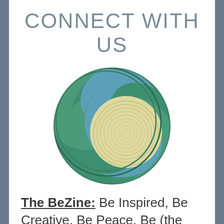CONNECT WITH US
[Figure (logo): Circular swirl logo with green, blue, and cream/yellow spiral bands forming a yin-yang-like design]
The BeZine: Be Inspired, Be Creative, Be Peace, Be (the